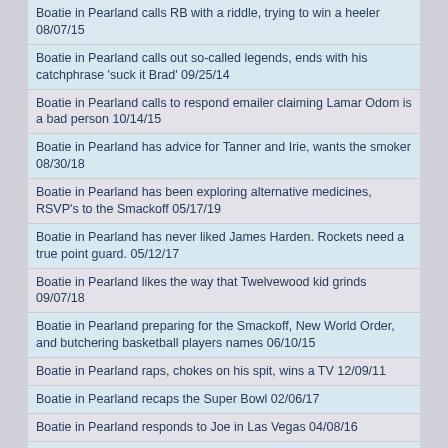Boatie in Pearland calls RB with a riddle, trying to win a heeler 08/07/15
Boatie in Pearland calls out so-called legends, ends with his catchphrase 'suck it Brad' 09/25/14
Boatie in Pearland calls to respond emailer claiming Lamar Odom is a bad person 10/14/15
Boatie in Pearland has advice for Tanner and Irie, wants the smoker 08/30/18
Boatie in Pearland has been exploring alternative medicines, RSVP's to the Smackoff 05/17/19
Boatie in Pearland has never liked James Harden. Rockets need a true point guard. 05/12/17
Boatie in Pearland likes the way that Twelvewood kid grinds 09/07/18
Boatie in Pearland preparing for the Smackoff, New World Order, and butchering basketball players names 06/10/15
Boatie in Pearland raps, chokes on his spit, wins a TV 12/09/11
Boatie in Pearland recaps the Super Bowl 02/06/17
Boatie in Pearland responds to Joe in Las Vegas 04/08/16
Boatie in Pearland responds to T Suggs comment on Tebow 01/06/12
Boatie in Pearland RSVP's for the Smackoff 05/16/12
Boatie in Pearland RSVP's to the Smackoff 06/08/16
Boatie in Pearland says Sum Bitch will be the name on the back of Cruz's car 07/19/18
Boatie in Pearland says TeamCanada is America's skidmark, Rome wonders why he didn't get run 07/13/18